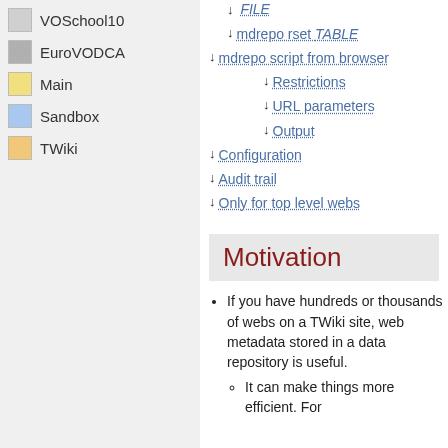VOSchool10
EuroVODCA
Main
Sandbox
TWiki
↓ mdrepo rset TABLE
↓ mdrepo script from browser
↓ Restrictions
↓ URL parameters
↓ Output
↓ Configuration
↓ Audit trail
↓ Only for top level webs
Motivation
If you have hundreds or thousands of webs on a TWiki site, web metadata stored in a data repository is useful.
It can make things more efficient. For